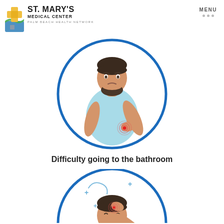[Figure (logo): St. Mary's Medical Center logo with Palm Beach Health Network tagline and colorful cross/wave icon]
[Figure (illustration): Illustration of a man with a beard holding his stomach in pain, shown inside a blue circle, indicating difficulty going to the bathroom]
Difficulty going to the bathroom
[Figure (illustration): Partial illustration of a man with a beard holding his head in pain with a red pain indicator spot and dizziness symbols, shown inside a blue circle (cropped at bottom)]